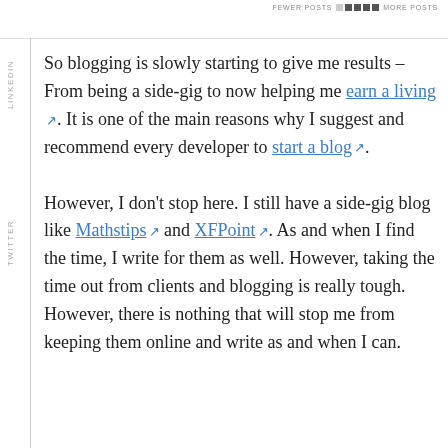FEWER POSTS  ◄ ■ ■ ■ ■ ►  MORE POSTS
So blogging is slowly starting to give me results – From being a side-gig to now helping me earn a living. It is one of the main reasons why I suggest and recommend every developer to start a blog.
However, I don't stop here. I still have a side-gig blog like Mathstips and XFPoint. As and when I find the time, I write for them as well. However, taking the time out from clients and blogging is really tough. However, there is nothing that will stop me from keeping them online and write as and when I can.